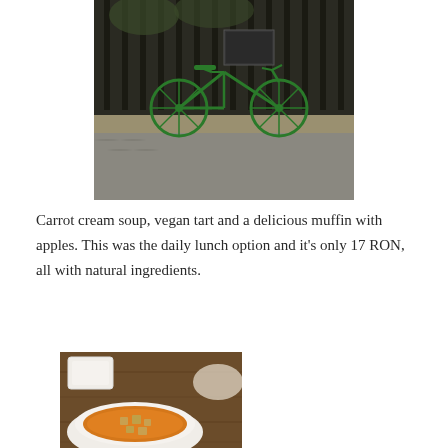[Figure (photo): A green bicycle leaning against a dark metal fence on a cobblestone pavement. Trees visible in the background.]
Carrot cream soup, vegan tart and a delicious muffin with apples. This was the daily lunch option and it's only 17 RON, all with natural ingredients.
[Figure (photo): A white bowl of orange/yellow soup (carrot cream soup) with croutons or toppings, served on a wooden table with other dishes visible in the background.]